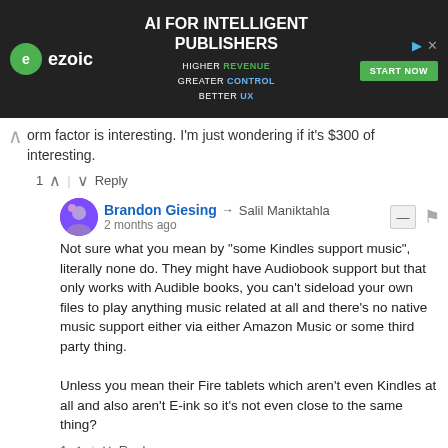[Figure (screenshot): Ezoic advertisement banner: 'AI FOR INTELLIGENT PUBLISHERS' with 'HIGHER REVENUE GREATER CONTROL BETTER UX' tagline and 'START NOW' button]
orm factor is interesting. I'm just wondering if it's $300 of interesting.
1 ^ | v Reply
Brandon Giesing → Salil Maniktahla
2 months ago
Not sure what you mean by "some Kindles support music", literally none do. They might have Audiobook support but that only works with Audible books, you can't sideload your own files to play anything music related at all and there's no native music support either via either Amazon Music or some third party thing.

Unless you mean their Fire tablets which aren't even Kindles at all and also aren't E-ink so it's not even close to the same thing?
1 ^ | v Reply
Enzo Gorlami